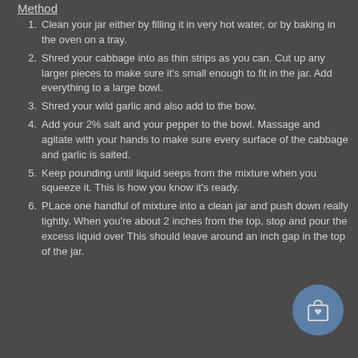Method
Clean your jar either by filling it in very hot water, or by baking in the oven on a tray.
Shred your cabbage into as thin strips as you can. Cut up any larger pieces to make sure it's small enough to fit in the jar. Add everything to a large bowl.
Shred your wild garlic and also add to the bow.
Add your 2% salt and your pepper to the bowl. Massage and agitate with your hands to make sure every surface of the cabbage and garlic is salted.
Keep pounding until liquid seeps from the mixture when you squeeze it. This is how you know it's ready.
PLace one handful of mixture into a clean jar and push down really tightly. When you're about 2 inches from the top, stop and pour the excess liquid over This should leave around an inch gap in the top of the jar.